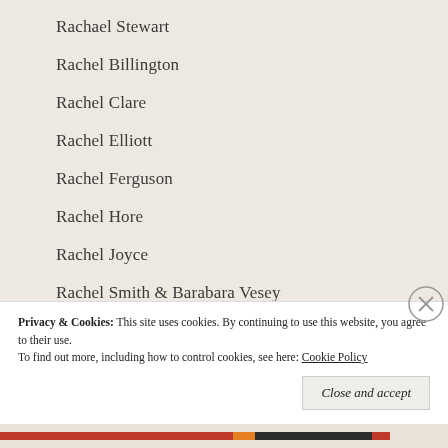Rachael Stewart
Rachel Billington
Rachel Clare
Rachel Elliott
Rachel Ferguson
Rachel Hore
Rachel Joyce
Rachel Smith & Barabara Vesey
Raymond Postgate
Rebecca Jenkins
Rebecca Lipkin
Rebecca Mead
Rebecca Shaw
Privacy & Cookies: This site uses cookies. By continuing to use this website, you agree to their use. To find out more, including how to control cookies, see here: Cookie Policy
Close and accept